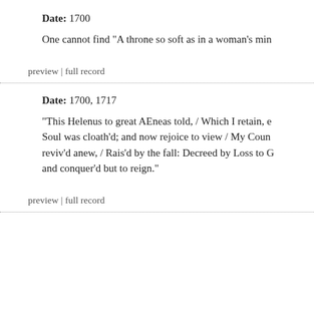Date: 1700
One cannot find "A throne so soft as in a woman's min
preview | full record
Date: 1700, 1717
"This Helenus to great AEneas told, / Which I retain, e Soul was cloath'd; and now rejoice to view / My Coun reviv'd anew, / Rais'd by the fall: Decreed by Loss to G and conquer'd but to reign."
preview | full record